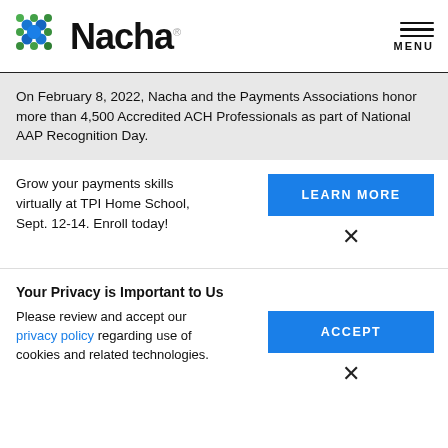[Figure (logo): Nacha logo with colorful dot pattern and wordmark]
On February 8, 2022, Nacha and the Payments Associations honor more than 4,500 Accredited ACH Professionals as part of National AAP Recognition Day.
Grow your payments skills virtually at TPI Home School, Sept. 12-14. Enroll today!
LEARN MORE
Your Privacy is Important to Us
Please review and accept our privacy policy regarding use of cookies and related technologies.
ACCEPT